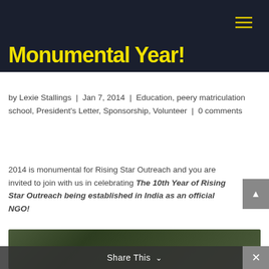Monumental Year!
by Lexie Stallings | Jan 7, 2014 | Education, peery matriculation school, President's Letter, Sponsorship, Volunteer | 0 comments
2014 is monumental for Rising Star Outreach and you are invited to join with us in celebrating The 10th Year of Rising Star Outreach being established in India as an official NGO!
[Figure (photo): Outdoor photo showing trees and greenery, partially visible at bottom of page]
Share This